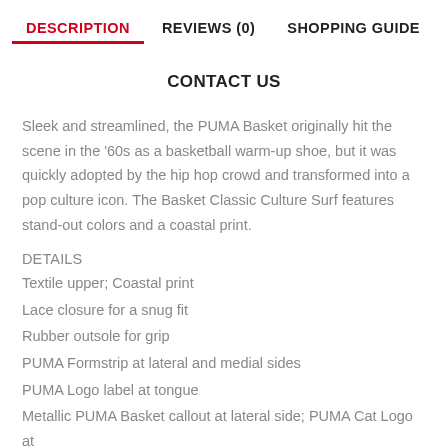DESCRIPTION   REVIEWS (0)   SHOPPING GUIDE
CONTACT US
Sleek and streamlined, the PUMA Basket originally hit the scene in the '60s as a basketball warm-up shoe, but it was quickly adopted by the hip hop crowd and transformed into a pop culture icon. The Basket Classic Culture Surf features stand-out colors and a coastal print.
DETAILS
Textile upper; Coastal print
Lace closure for a snug fit
Rubber outsole for grip
PUMA Formstrip at lateral and medial sides
PUMA Logo label at tongue
Metallic PUMA Basket callout at lateral side; PUMA Cat Logo at